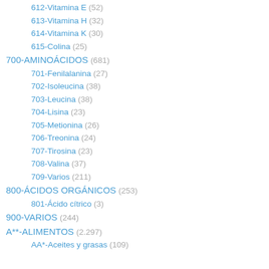612-Vitamina E (52)
613-Vitamina H (32)
614-Vitamina K (30)
615-Colina (25)
700-AMINOÁCIDOS (681)
701-Fenilalanina (27)
702-Isoleucina (38)
703-Leucina (38)
704-Lisina (23)
705-Metionina (26)
706-Treonina (24)
707-Tirosina (23)
708-Valina (37)
709-Varios (211)
800-ÁCIDOS ORGÁNICOS (253)
801-Ácido cítrico (3)
900-VARIOS (244)
A**-ALIMENTOS (2.297)
AA*-Aceites y grasas (109)